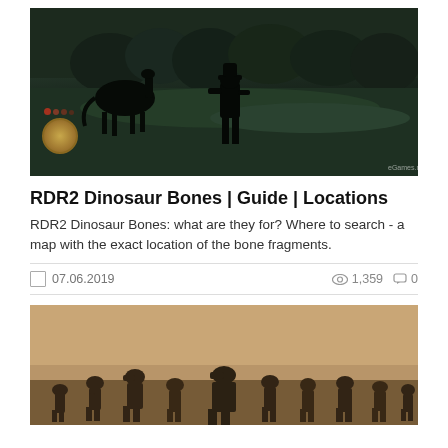[Figure (screenshot): RDR2 game screenshot showing a cowboy with a horse in a dark green field landscape with HUD elements]
RDR2 Dinosaur Bones | Guide | Locations
RDR2 Dinosaur Bones: what are they for? Where to search - a map with the exact location of the bone fragments.
07.06.2019    1,359    0
[Figure (screenshot): RDR2 game screenshot showing a group of cowboys/outlaws standing together in a dusty western landscape]